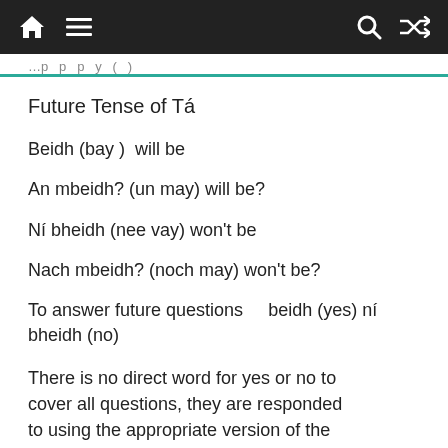[navigation bar with home, menu, search, and shuffle icons]
…p   p   p   y   (   )
Future Tense of Tá
Beidh (bay )  will be
An mbeidh? (un may) will be?
Ní bheidh (nee vay) won't be
Nach mbeidh? (noch may) won't be?
To answer future questions    beidh (yes) ní bheidh (no)
There is no direct word for yes or no to cover all questions, they are responded to using the appropriate version of the verb used in posing the question. If you would like to respond in Irish t…